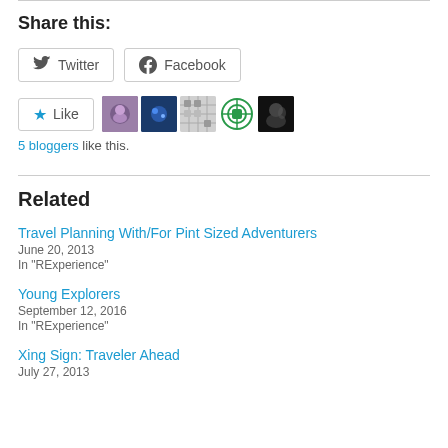Share this:
[Figure (screenshot): Twitter and Facebook social share buttons]
[Figure (screenshot): Like button with 5 blogger avatars]
5 bloggers like this.
Related
Travel Planning With/For Pint Sized Adventurers
June 20, 2013
In "RExperience"
Young Explorers
September 12, 2016
In "RExperience"
Xing Sign: Traveler Ahead
July 27, 2013